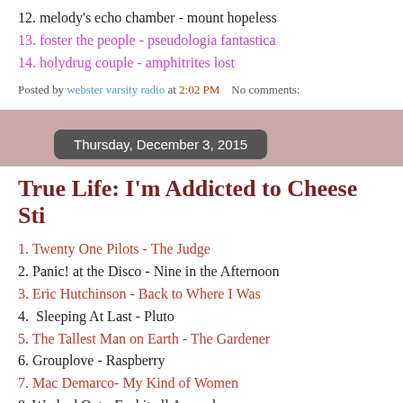12. melody's echo chamber - mount hopeless
13. foster the people - pseudologia fantastica
14. holydrug couple - amphitrites lost
Posted by webster varsity radio at 2:02 PM   No comments:
Thursday, December 3, 2015
True Life: I'm Addicted to Cheese Sti
1. Twenty One Pilots - The Judge
2. Panic! at the Disco - Nine in the Afternoon
3. Eric Hutchinson - Back to Where I Was
4.  Sleeping At Last - Pluto
5. The Tallest Man on Earth - The Gardener
6. Grouplove - Raspberry
7. Mac Demarco- My Kind of Women
8. Washed Out - Feel it all Around
9. Death Cab for Cutie - You Are a Tourist